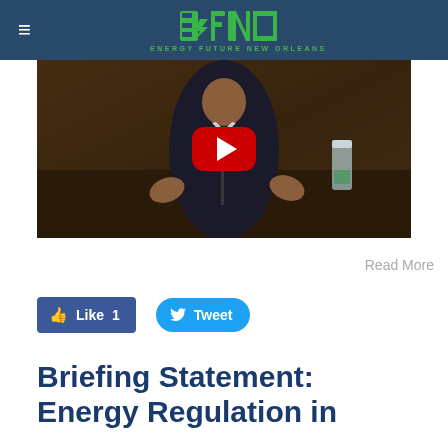ENERGY FUTURE NEW ORLEANS
[Figure (screenshot): YouTube video thumbnail showing a man in a dark suit with a red tie at a panel or hearing, with a YouTube play button overlay in the center]
Read More
Like 1   Tweet
Briefing Statement: Energy Regulation in